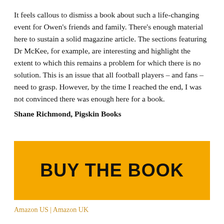It feels callous to dismiss a book about such a life-changing event for Owen's friends and family. There's enough material here to sustain a solid magazine article. The sections featuring Dr McKee, for example, are interesting and highlight the extent to which this remains a problem for which there is no solution. This is an issue that all football players – and fans – need to grasp. However, by the time I reached the end, I was not convinced there was enough here for a book.
Shane Richmond, Pigskin Books
[Figure (other): Gold/amber colored button with text 'BUY THE BOOK']
Amazon US | Amazon UK